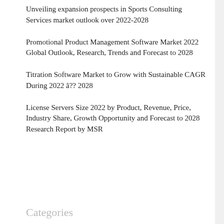Unveiling expansion prospects in Sports Consulting Services market outlook over 2022-2028
Promotional Product Management Software Market 2022 Global Outlook, Research, Trends and Forecast to 2028
Titration Software Market to Grow with Sustainable CAGR During 2022 â?? 2028
License Servers Size 2022 by Product, Revenue, Price, Industry Share, Growth Opportunity and Forecast to 2028 Research Report by MSR
Categories